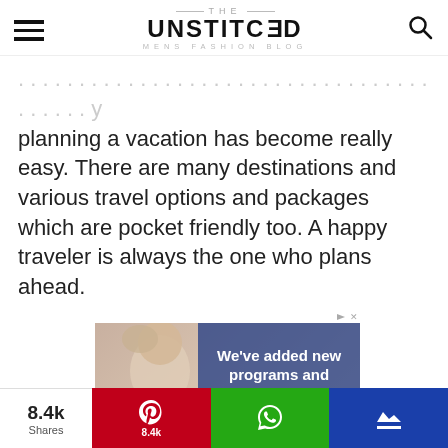THE UNSTITCHED — MENS FASHION BLOG
planning a vacation has become really easy. There are many destinations and various travel options and packages which are pocket friendly too. A happy traveler is always the one who plans ahead.
[Figure (infographic): Advertisement banner: 'We've added new programs and activities!' overlaid on an image of an elderly woman with a child]
8.4k Shares | Pinterest 8.4k | WhatsApp | Crown/bookmark icon